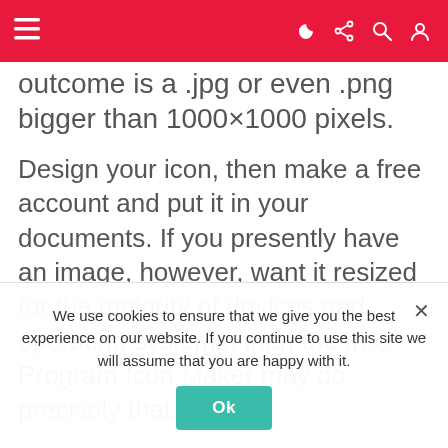≡ navbar with icons
outcome is a .jpg or even .png bigger than 1000×1000 pixels.
Design your icon, then make a free account and put it in your documents. If you presently have an image, however, want it resized for the majority of devices and operating systems, then the free Program Icon Maker may do precisely that.
3. Configure Your App
We use cookies to ensure that we give you the best experience on our website. If you continue to use this site we will assume that you are happy with it.